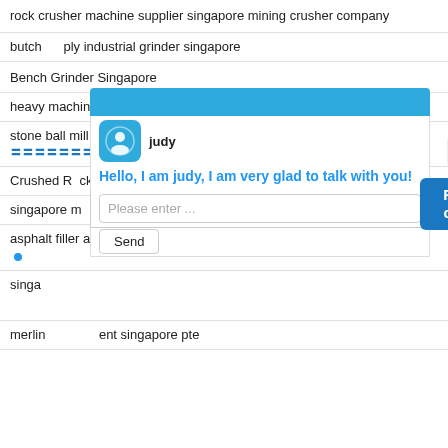rock crusher machine supplier singapore mining crusher company
butcher supply industrial grinder singapore
Bench Grinder Singapore
heavy machinery singapore
stone ball mill ma sell singapore - search results 〓〓〓〓〓〓〓5
Crushed R ck Cr eld arc shed Rock Dallas Singapore
singapore m
asphalt filler and sealer in singapore
singap
merlin ment singapore pte
[Figure (screenshot): Chat widget overlay with blue header, avatar icon labeled judy, greeting text 'Hello, I am judy, I am very glad to talk with you!', a text input field with placeholder 'Please enter ...', and a Send button. A figure of a woman and a 'Free chat' button appear on the right side.]